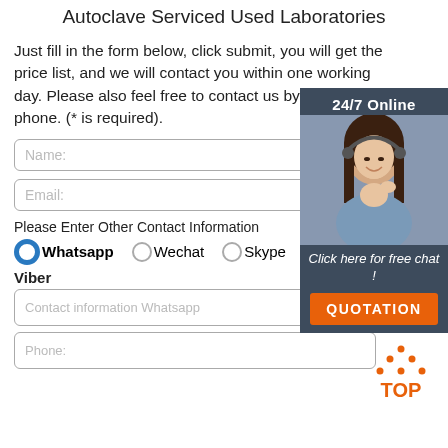Autoclave Serviced Used Laboratories
Just fill in the form below, click submit, you will get the price list, and we will contact you within one working day. Please also feel free to contact us by email or phone. (* is required).
[Figure (infographic): Customer service woman with headset, overlay panel showing 24/7 Online, Click here for free chat!, and QUOTATION button in orange]
Name:
Email:
Please Enter Other Contact Information
Whatsapp (selected), Wechat, Skype, Viber radio buttons
Viber
Contact information Whatsapp
Phone: